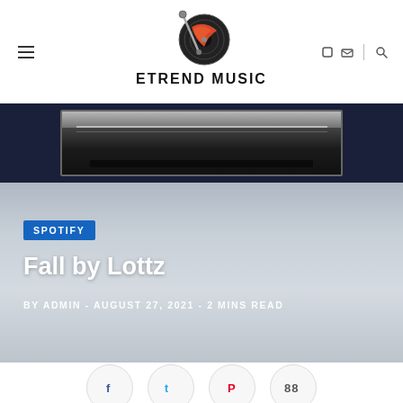ETREND MUSIC
[Figure (screenshot): Dark horizontal banner image showing what appears to be a gaming console or electronic device]
SPOTIFY
Fall by Lottz
BY ADMIN - AUGUST 27, 2021 - 2 MINS READ
[Figure (infographic): Social share buttons: Facebook, Twitter, Pinterest, and a counter showing 88]